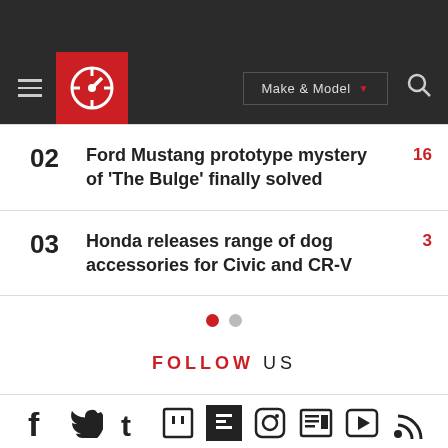Caradvice navigation bar with Make & Model selector
02 Ford Mustang prototype mystery of 'The Bulge' finally solved — 16
03 Honda releases range of dog accessories for Civic and CR-V — 3
FOLLOW US
[Figure (infographic): Row of social media icons: Facebook, Twitter, Tumblr, Twitch, Flipboard, Instagram, News, Video, RSS]